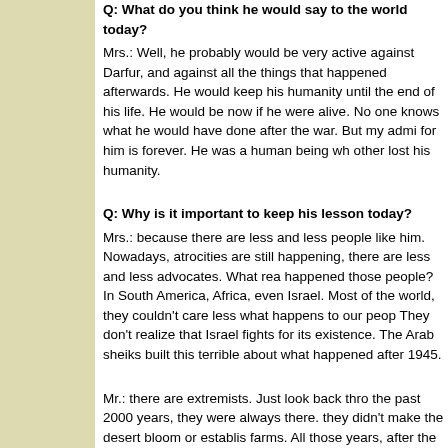Q: What do you think he would say to the world today?
Mrs.: Well, he probably would be very active against Darfur, and against all the things that happened afterwards. He would keep his humanity until the end of his life. He would be now if he were alive. No one knows what he would have done after the war. But my admiration for him is forever. He was a human being who never lost his humanity.
Q: Why is it important to keep his lesson today?
Mrs.: because there are less and less people like him. Nowadays, atrocities are still happening, there are less and less advocates. What really happened those people? In South America, Africa, even Israel. Most of the world, they couldn't care less what happens to our people. They don't realize that Israel fights for its existence. The Arab sheiks built this terrible about what happened after 1945.
Mr.: there are extremists. Just look back through the past 2000 years, they were always there. But they didn't make the desert bloom or establish farms. All those years, after the British found...